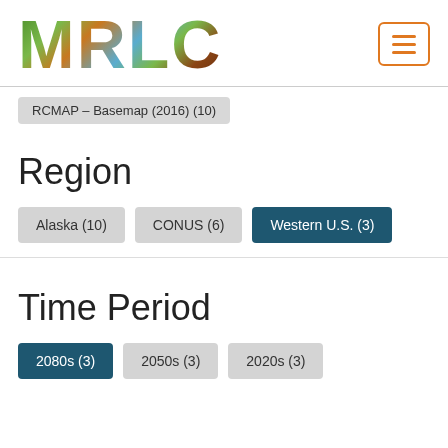[Figure (logo): MRLC logo with nature-themed letter imagery]
RCMAP – Basemap (2016) (10)
Region
Alaska (10)
CONUS (6)
Western U.S. (3)
Time Period
2080s (3)
2050s (3)
2020s (3)